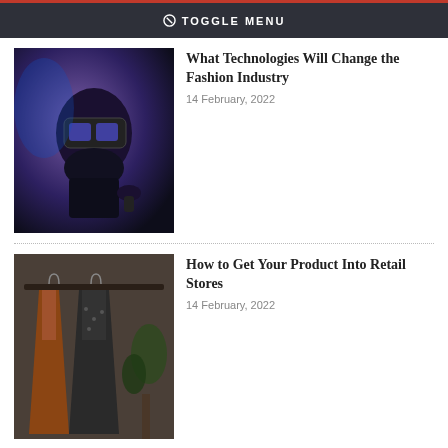TOGGLE MENU
What Technologies Will Change the Fashion Industry
14 February, 2022
How to Get Your Product Into Retail Stores
14 February, 2022
Three Ways to Improve Your Retail Business with a Blog
04 February, 2022
What is Cotton Flannel and How to care for it
04 February, 2022